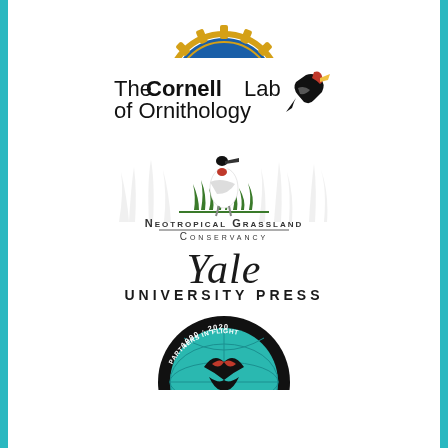[Figure (logo): Partial circular logo with gold gear/sun-ray border and blue center, cropped at top of page]
[Figure (logo): The Cornell Lab of Ornithology logo with stylized woodpecker bird silhouette in red, black and yellow]
[Figure (logo): Neotropical Grassland Conservancy logo with a jabiru stork bird standing in grass with faint watermark grass background and text in small caps]
[Figure (logo): Yale University Press logo — Yale in large italic serif font over UNIVERSITY PRESS in small caps]
[Figure (logo): Partners in Flight 1990-2020 circular badge logo with teal globe and bird silhouette, partially cropped at bottom]